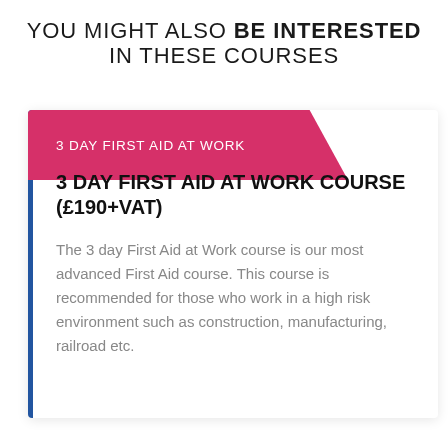YOU MIGHT ALSO BE INTERESTED IN THESE COURSES
3 DAY FIRST AID AT WORK
3 DAY FIRST AID AT WORK COURSE (£190+VAT)
The 3 day First Aid at Work course is our most advanced First Aid course. This course is recommended for those who work in a high risk environment such as construction, manufacturing, railroad etc.